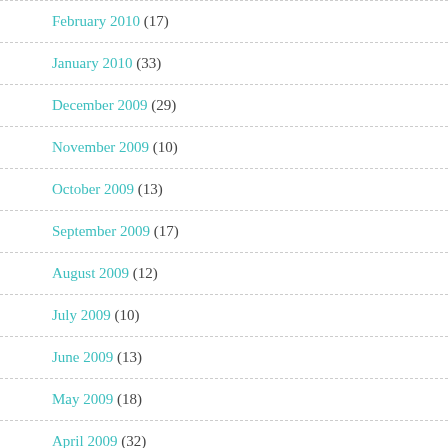February 2010 (17)
January 2010 (33)
December 2009 (29)
November 2009 (10)
October 2009 (13)
September 2009 (17)
August 2009 (12)
July 2009 (10)
June 2009 (13)
May 2009 (18)
April 2009 (32)
March 2009 (17)